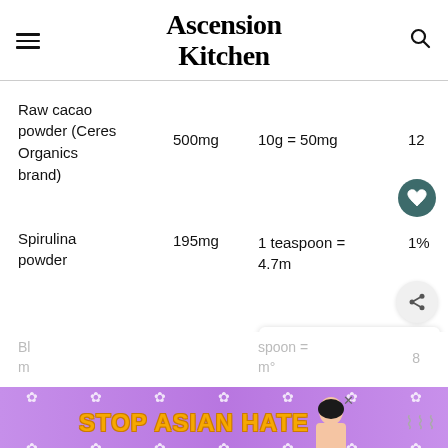Ascension Kitchen
| Ingredient | Amount | Serving info |  |
| --- | --- | --- | --- |
| Raw cacao powder (Ceres Organics brand) | 500mg | 10g = 50mg | 12 |
| Spirulina powder | 195mg | 1 teaspoon = 4.7m | 1% |
| Bl... m |  | spoon = m° | 8 |
[Figure (infographic): Stop Asian Hate advertisement banner with purple floral background]
[Figure (infographic): Heart save button and share button UI overlay]
[Figure (infographic): What's Next panel showing How to make your own...]